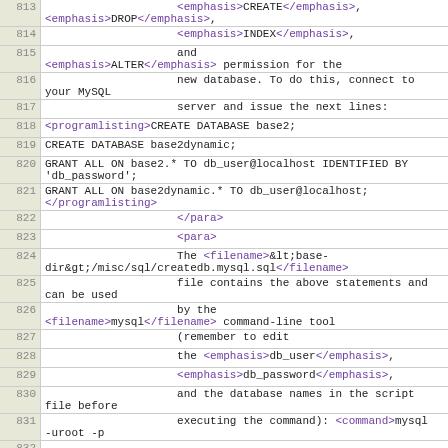813: <emphasis>CREATE</emphasis>, <emphasis>DROP</emphasis>,
814:                 <emphasis>INDEX</emphasis>,
815:                 and <emphasis>ALTER</emphasis> permission for the
816:                 new database. To do this, connect to your MySQL
817:                 server and issue the next lines:
818: <programlisting>CREATE DATABASE base2;
819: CREATE DATABASE base2dynamic;
820: GRANT ALL ON base2.* TO db_user@localhost IDENTIFIED BY 'db_password';
821: GRANT ALL ON base2dynamic.* TO db_user@localhost; </programlisting>
822:                 </para>
823:                 <para>
824:                 The <filename>&lt;base-dir&gt;/misc/sql/createdb.mysql.sql</filename>
825:                 file contains the above statements and can be used
826:                 by the <filename>mysql</filename> command-line tool
827:                 (remember to edit
828:                 the <emphasis>db_user</emphasis>,
829:                 <emphasis>db_password</emphasis>,
830:                 and the database names in the script file before
831:                 executing the command): <command>mysql -uroot -p
832: &lt; ./misc/sql/createdb.mysql.sql</command>. The
833:                 header in the script file contains further
834:                 information about the script